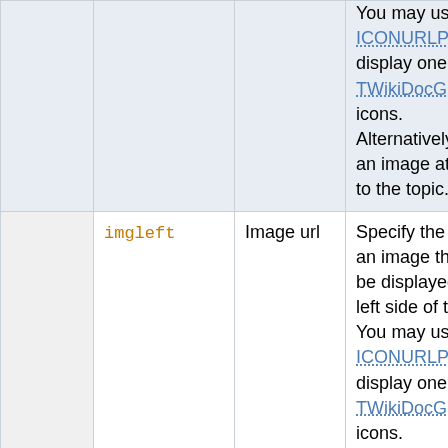|  |  |  | You may use ICONURLPATH to display one of the TWikiDocGraphics icons. Alternatively use an image attached to the topic. |  |
| imgleft | Image url |  | Specify the url of an image that will be displayed at the left side of the link. You may use ICONURLPATH to display one of the TWikiDocGraphics icons. Alternatively use | optio defa to no imag |